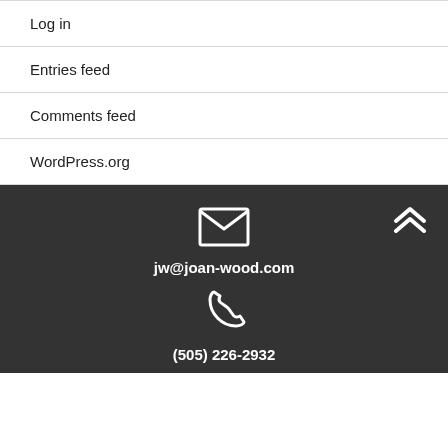Log in
Entries feed
Comments feed
WordPress.org
[Figure (infographic): Dark footer section with email icon (envelope), email address jw@joan-wood.com, phone icon (handset), phone number (505) 226-2932, and a scroll-up chevron icon in the top right corner]
jw@joan-wood.com
(505) 226-2932